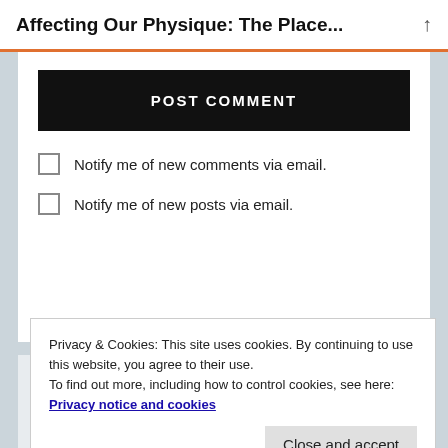Affecting Our Physique: The Place...
POST COMMENT
Notify me of new comments via email.
Notify me of new posts via email.
Royal
Privacy & Cookies: This site uses cookies. By continuing to use this website, you agree to their use.
To find out more, including how to control cookies, see here: Privacy notice and cookies
Close and accept
with IBG